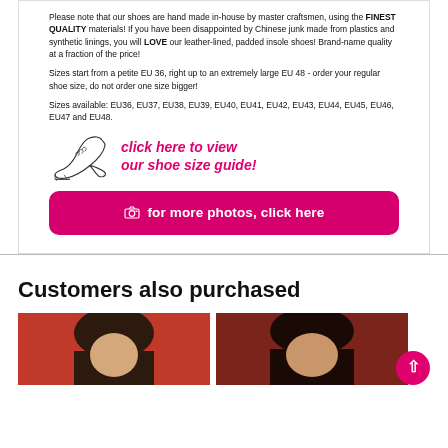Please note that our shoes are hand made in-house by master craftsmen, using the FINEST QUALITY materials! If you have been disappointed by Chinese junk made from plastics and synthetic linings, you will LOVE our leather-lined, padded insole shoes! Brand-name quality at a fraction of the price!
Sizes start from a petite EU 36, right up to an extremely large EU 48 - order your regular shoe size, do not order one size bigger!
Sizes available: EU36, EU37, EU38, EU39, EU40, EU41, EU42, EU43, EU44, EU45, EU46, EU47 and EU48.
[Figure (illustration): Shoe size guide banner with a line-art foot/shoe icon and pink italic text: 'click here to view our shoe size guide!']
[Figure (infographic): Pink rounded rectangle button with camera icon and text: 'for more photos, click here']
Customers also purchased
[Figure (photo): Partial product photo showing a person with dark hair against a red background]
[Figure (photo): Partial product photo showing a person with dark hair against a dark red/textured background]